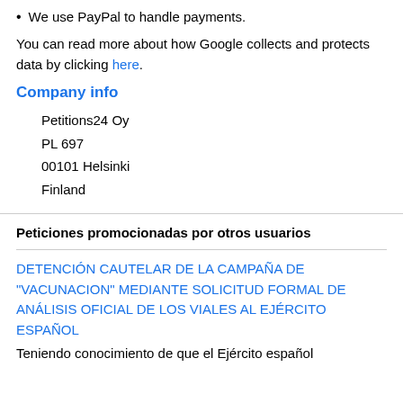We use PayPal to handle payments.
You can read more about how Google collects and protects data by clicking here.
Company info
Petitions24 Oy
PL 697
00101 Helsinki
Finland
Peticiones promocionadas por otros usuarios
DETENCIÓN CAUTELAR DE LA CAMPAÑA DE "VACUNACION" MEDIANTE SOLICITUD FORMAL DE ANÁLISIS OFICIAL DE LOS VIALES AL EJÉRCITO ESPAÑOL
Teniendo conocimiento de que el Ejército español